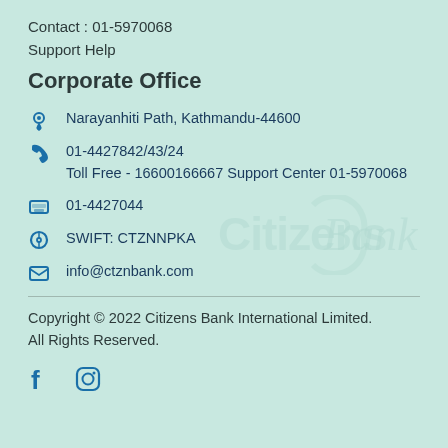Contact : 01-5970068
Support Help
Corporate Office
Narayanhiti Path, Kathmandu-44600
01-4427842/43/24
Toll Free - 16600166667 Support Center 01-5970068
01-4427044
SWIFT: CTZNNPKA
info@ctznbank.com
[Figure (logo): Citizens Bank watermark logo in light teal]
Copyright © 2022 Citizens Bank International Limited. All Rights Reserved.
[Figure (other): Facebook and Instagram social media icons in teal]